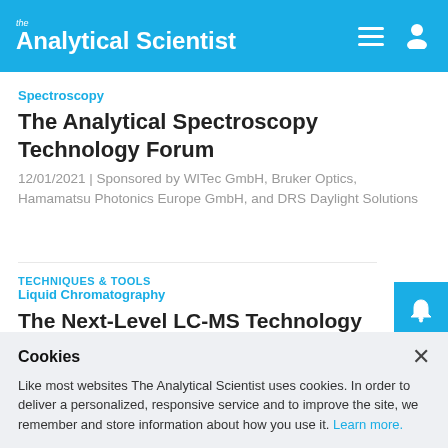the Analytical Scientist
Spectroscopy
The Analytical Spectroscopy Technology Forum
12/01/2021 | Sponsored by WITec GmbH, Bruker Optics, Hamamatsu Photonics Europe GmbH, and DRS Daylight Solutions
TECHNIQUES & TOOLS
Liquid Chromatography
The Next-Level LC-MS Technology Forum
11/16/2021 | Sponsored by ACD Labs, Agilent, Tosoh
Cookies
Like most websites The Analytical Scientist uses cookies. In order to deliver a personalized, responsive service and to improve the site, we remember and store information about how you use it. Learn more.